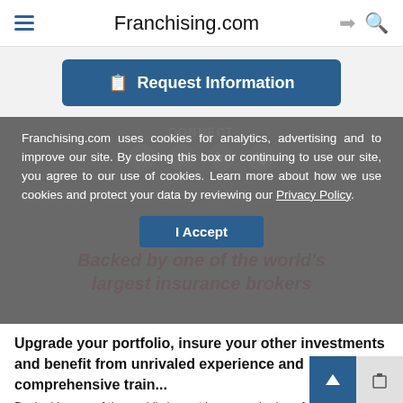Franchising.com
Request Information
CONNECT
Franchising.com uses cookies for analytics, advertising and to improve our site. By closing this box or continuing to use our site, you agree to our use of cookies. Learn more about how we use cookies and protect your data by reviewing our Privacy Policy.
I Accept
Backed by one of the world's largest insurance brokers
Upgrade your portfolio, insure your other investments and benefit from unrivaled experience and comprehensive training
Backed by one of the world's largest insurance brokers founded in 1897 b...